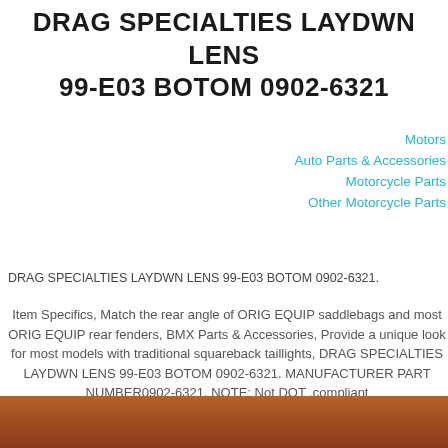DRAG SPECIALTIES LAYDWN LENS 99-E03 BOTOM 0902-6321
Motors
Auto Parts & Accessories
Motorcycle Parts
Other Motorcycle Parts
DRAG SPECIALTIES LAYDWN LENS 99-E03 BOTOM 0902-6321.
Item Specifics, Match the rear angle of ORIG EQUIP saddlebags and most ORIG EQUIP rear fenders, BMX Parts & Accessories, Provide a unique look for most models with traditional squareback taillights, DRAG SPECIALTIES LAYDWN LENS 99-E03 BOTOM 0902-6321. MANUFACTURER PART NUMBER0902-6321. NOTE: Not DOT .compliant
[Figure (photo): Brown/reddish product image strip at the bottom of the page]